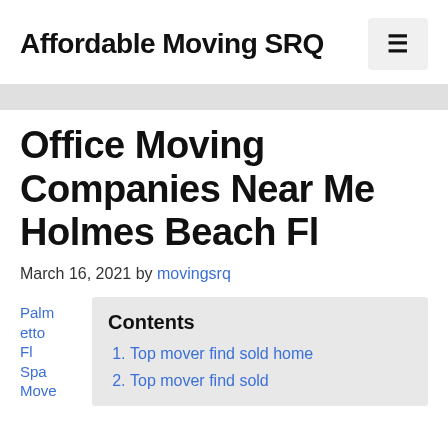Affordable Moving SRQ
Office Moving Companies Near Me Holmes Beach Fl
March 16, 2021 by movingsrq
Contents
Top mover find sold home
Top mover find sold
Palmetto Fl Spa Move